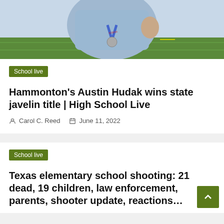[Figure (photo): Person in light blue shirt wearing a medal with a blue ribbon, standing in front of a sports field, making a hand gesture]
School live
Hammonton's Austin Hudak wins state javelin title | High School Live
Carol C. Reed   June 11, 2022
School live
Texas elementary school shooting: 21 dead, 19 children, law enforcement, parents, shooter update, reactions…